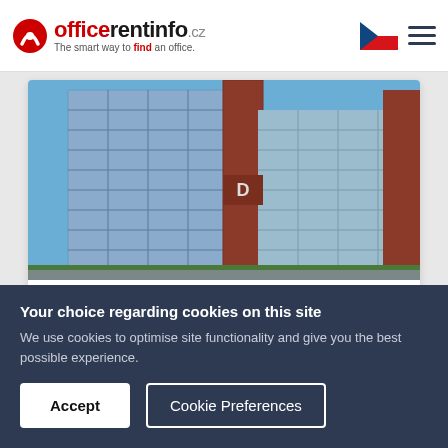officerentinfo.cz — The smart way to find an office.
[Figure (photo): Exterior photo of Coral Office Park — modern multi-storey office buildings with glass facades and red brick sections under a blue sky.]
Coral Office Park
Prague, Prague 13
Bucharova 1314/8
Available : 1.013 m²
Your choice regarding cookies on this site
We use cookies to optimise site functionality and give you the best possible experience.
Accept   Cookie Preferences